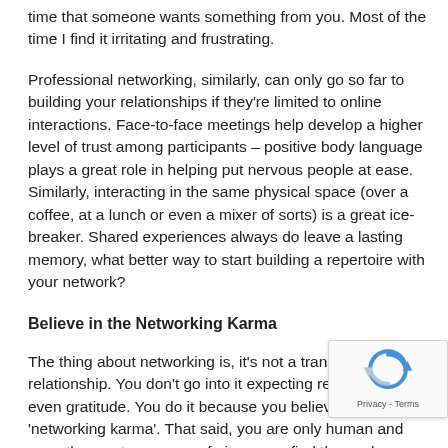time that someone wants something from you. Most of the time I find it irritating and frustrating.
Professional networking, similarly, can only go so far to building your relationships if they're limited to online interactions. Face-to-face meetings help develop a higher level of trust among participants – positive body language plays a great role in helping put nervous people at ease. Similarly, interacting in the same physical space (over a coffee, at a lunch or even a mixer of sorts) is a great ice-breaker. Shared experiences always do leave a lasting memory, what better way to start building a repertoire with your network?
Believe in the Networking Karma
The thing about networking is, it's not a transactional relationship. You don't go into it expecting rewards, or even gratitude. You do it because you believe in 'networking karma'. That said, you are only human and even the most generous of givers can find themselves overwhelmed at times. That's why it is important to set up boundaries that help you prevent burnout and maintain a healthy relationship with yourself and your network. I have adopted the